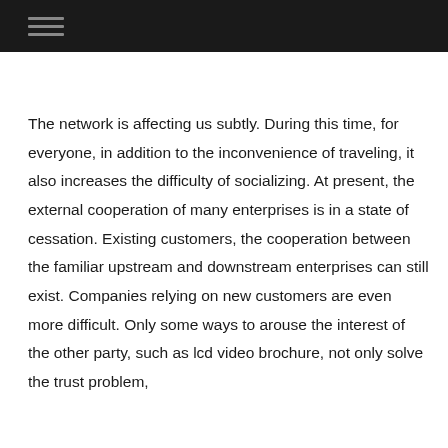The network is affecting us subtly. During this time, for everyone, in addition to the inconvenience of traveling, it also increases the difficulty of socializing. At present, the external cooperation of many enterprises is in a state of cessation. Existing customers, the cooperation between the familiar upstream and downstream enterprises can still exist. Companies relying on new customers are even more difficult. Only some ways to arouse the interest of the other party, such as lcd video brochure, not only solve the trust problem,